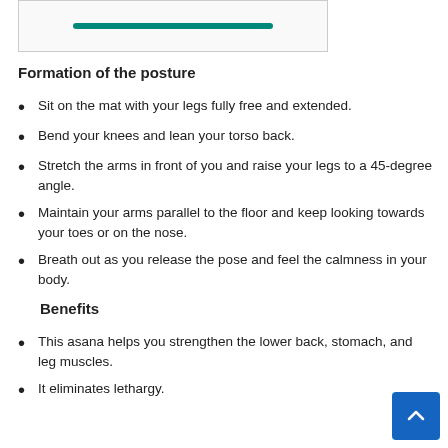[Figure (illustration): Partial illustration of a yoga pose with teal decorative element, visible at top of page.]
Formation of the posture
Sit on the mat with your legs fully free and extended.
Bend your knees and lean your torso back.
Stretch the arms in front of you and raise your legs to a 45-degree angle.
Maintain your arms parallel to the floor and keep looking towards your toes or on the nose.
Breath out as you release the pose and feel the calmness in your body.
Benefits
This asana helps you strengthen the lower back, stomach, and leg muscles.
It eliminates lethargy.